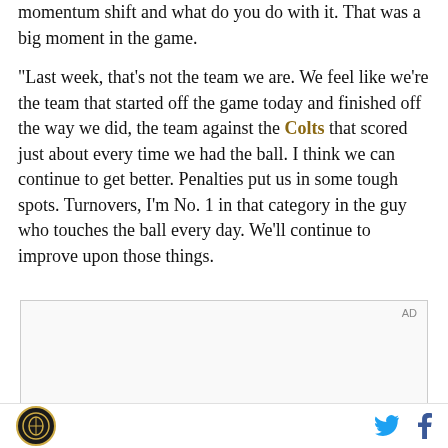momentum shift and what do you do with it. That was a big moment in the game.
"Last week, that's not the team we are. We feel like we're the team that started off the game today and finished off the way we did, the team against the Colts that scored just about every time we had the ball. I think we can continue to get better. Penalties put us in some tough spots. Turnovers, I'm No. 1 in that category in the guy who touches the ball every day. We'll continue to improve upon those things.
[Figure (other): Advertisement placeholder box with 'AD' label in top right corner]
[Figure (photo): Partial photo strip showing teal/dark sports imagery at bottom of ad area]
Saints News Network logo | Twitter icon | Facebook icon